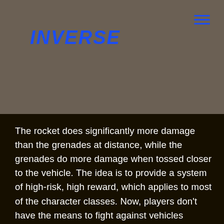INVERSE
[Figure (other): Dark brownish-gray background image area filling the top half of the page]
The rocket does significantly more damage than the grenades at distance, while the grenades do more damage when tossed closer to the vehicle. The idea is to provide a system of high-risk, high reward, which applies to most of the character classes. Now, players don't have the means to fight against vehicles wherever they please – which allows vehicles to feel safer when out in